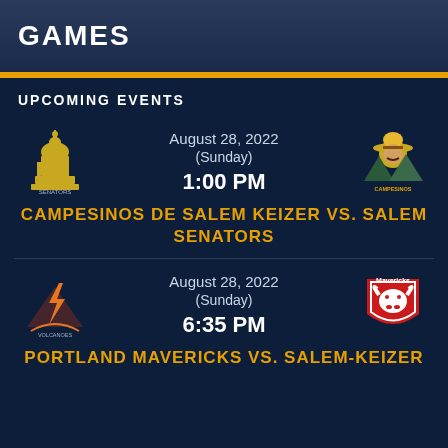GAMES
UPCOMING EVENTS
August 28, 2022
(Sunday)
1:00 PM
CAMPESINOS DE SALEM KEIZER VS. SALEM SENATORS
August 28, 2022
(Sunday)
6:35 PM
PORTLAND MAVERICKS VS. SALEM-KEIZER